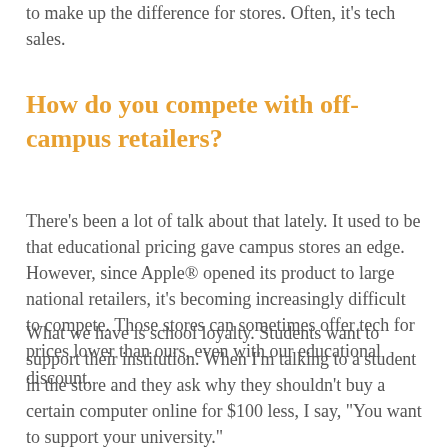to make up the difference for stores. Often, it's tech sales.
How do you compete with off-campus retailers?
There's been a lot of talk about that lately. It used to be that educational pricing gave campus stores an edge. However, since Apple® opened its product to large national retailers, it's becoming increasingly difficult to compete. Those stores can sometimes offer tech for prices lower than ours, even with our educational discount.
What we have is school loyalty. Students want to support their institution. When I'm talking to a student in the store and they ask why they shouldn't buy a certain computer online for $100 less, I say, "You want to support your university."